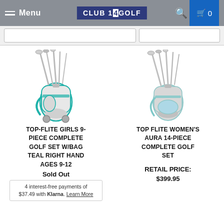Menu | CLUB 14 GOLF | 0
[Figure (photo): Top-Flite Girls 9-Piece Complete Golf Set with teal/white bag and clubs]
TOP-FLITE GIRLS 9-PIECE COMPLETE GOLF SET W/BAG TEAL RIGHT HAND AGES 9-12
Sold Out
4 interest-free payments of $37.49 with Klarna. Learn More
[Figure (photo): Top Flite Women's Aura 14-Piece Complete Golf Set with grey/blue bag and clubs]
TOP FLITE WOMEN'S AURA 14-PIECE COMPLETE GOLF SET
RETAIL PRICE: $399.95